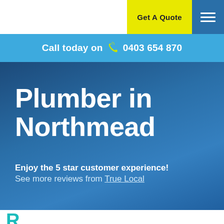Get A Quote
Call today on 0403 654 870
Plumber in Northmead
Enjoy the 5 star customer experience! See more reviews from True Local